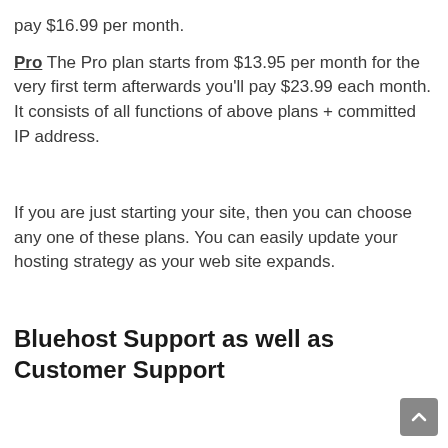pay $16.99 per month.
Pro The Pro plan starts from $13.95 per month for the very first term afterwards you'll pay $23.99 each month. It consists of all functions of above plans + committed IP address.
If you are just starting your site, then you can choose any one of these plans. You can easily update your hosting strategy as your web site expands.
Bluehost Support as well as Customer Support